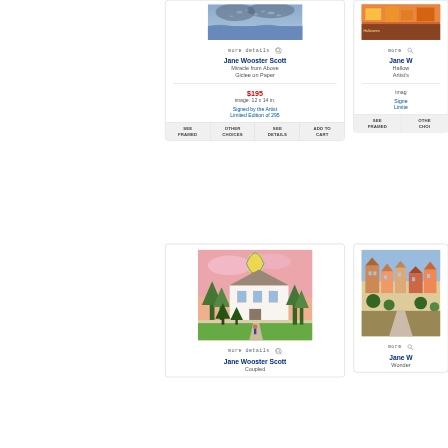[Figure (photo): Painting thumbnail - Miracle from Above by Jane Wooster Scott, Giclee on Paper, stormy sea scene]
more details 🔍
Jane Wooster Scott
Miracle from Above
Giclee on Paper
$195
image: 12 x 14 in.
Signed by the Artist
Limited Edition of 295
| SEE FRAMED | OTHER CHOICES | SEE DETAILS | ADD TO CART |
| --- | --- | --- | --- |
|  |
[Figure (photo): Partial painting thumbnail top right - Halloween themed, colorful]
more details 🔍
Jane W
Hallow
Artist's
imag
Signe
Limite
| SEE FRAMED | OTHER CHOICES |
| --- | --- |
|  |
[Figure (photo): Painting thumbnail - Coupled by Jane Wooster Scott, large white mansion with hot air balloon, pink sky]
more details 🔍
Jane Wooster Scott
Coupled
[Figure (photo): Partial painting thumbnail bottom right - Wonder, colorful village scene]